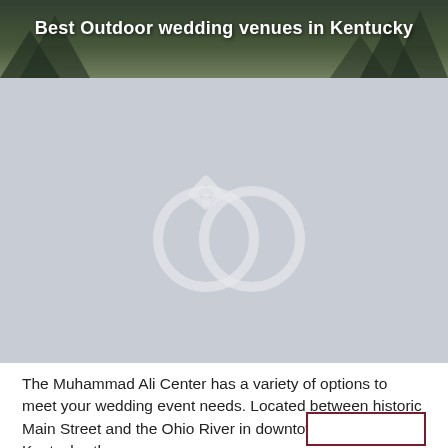[Figure (photo): Hero banner image showing outdoor wedding scenery with trees and couple silhouette, with text overlay reading 'Best Outdoor wedding venues in Kentucky']
Best Outdoor wedding venues in Kentucky
[Figure (illustration): Gray placeholder image with two interlocking wedding rings icon in lighter gray]
The Muhammad Ali Center has a variety of options to meet your wedding event needs. Located between historic Main Street and the Ohio River in downtown Louisville, Kentucky, the…
Starting from $171 to $2,520 for 50 guests